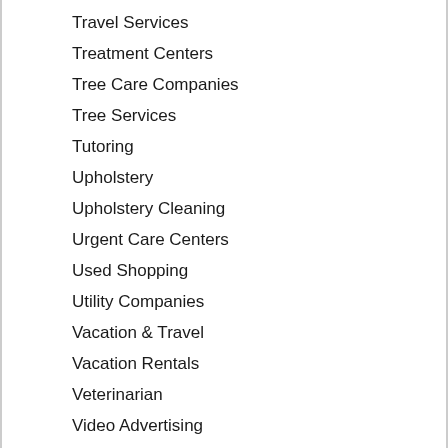Travel Services
Treatment Centers
Tree Care Companies
Tree Services
Tutoring
Upholstery
Upholstery Cleaning
Urgent Care Centers
Used Shopping
Utility Companies
Vacation & Travel
Vacation Rentals
Veterinarian
Video Advertising
Video and Animation